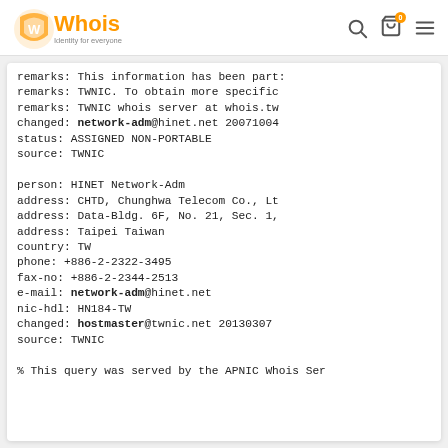Whois - Identity for everyone
remarks:        This information has been part:
remarks:        TWNIC. To obtain more specific
remarks:        TWNIC whois server at whois.tw
changed:        network-adm@hinet.net 20071004
status:         ASSIGNED NON-PORTABLE
source:         TWNIC

person:         HINET Network-Adm
address:        CHTD, Chunghwa Telecom Co., Lt
address:        Data-Bldg. 6F,  No. 21, Sec. 1
address:        Taipei Taiwan
country:        TW
phone:          +886-2-2322-3495
fax-no:         +886-2-2344-2513
e-mail:         network-adm@hinet.net
nic-hdl:        HN184-TW
changed:        hostmaster@twnic.net 20130307
source:         TWNIC

% This query was served by the APNIC Whois Ser